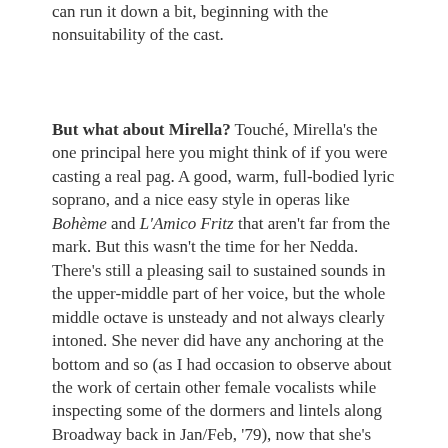can run it down a bit, beginning with the nonsuitability of the cast.
But what about Mirella? Touché, Mirella's the one principal here you might think of if you were casting a real pag. A good, warm, full-bodied lyric soprano, and a nice easy style in operas like Bohème and L'Amico Fritz that aren't far from the mark. But this wasn't the time for her Nedda. There's still a pleasing sail to sustained sounds in the upper-middle part of her voice, but the whole middle octave is unsteady and not always clearly intoned. She never did have any anchoring at the bottom and so (as I had occasion to observe about the work of certain other female vocalists while inspecting some of the dormers and lintels along Broadway back in Jan/Feb, '79), now that she's trying to lean on it a bit, she gets a very thin variety of chest jabbing in at odd assorted spots, some of them too high. Because of the way